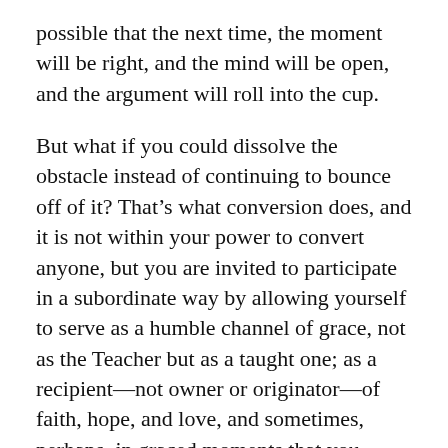possible that the next time, the moment will be right, and the mind will be open, and the argument will roll into the cup.
But what if you could dissolve the obstacle instead of continuing to bounce off of it? That’s what conversion does, and it is not within your power to convert anyone, but you are invited to participate in a subordinate way by allowing yourself to serve as a humble channel of grace, not as the Teacher but as a taught one; as a recipient—not owner or originator—of faith, hope, and love, and sometimes, perhaps, in graced moments that you cannot orchestrate or direct but only be caught up in, as a passer-on of something previously received, or as a clear